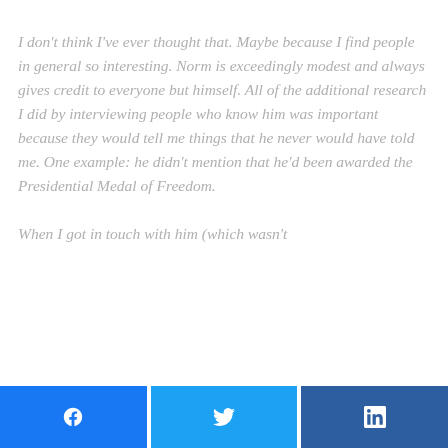I don't think I've ever thought that. Maybe because I find people in general so interesting. Norm is exceedingly modest and always gives credit to everyone but himself. All of the additional research I did by interviewing people who know him was important because they would tell me things that he never would have told me. One example: he didn't mention that he'd been awarded the Presidential Medal of Freedom.

When I got in touch with him (which wasn't